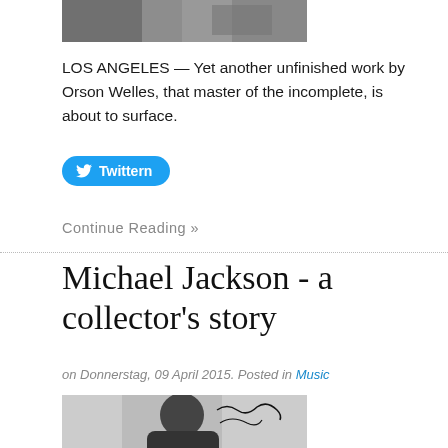[Figure (photo): Partial image at top of page, appears to be a black and white photo cropped at top]
LOS ANGELES — Yet another unfinished work by Orson Welles, that master of the incomplete, is about to surface.
[Figure (other): Twitter share button with bird icon and text 'Twittern']
Continue Reading »
Michael Jackson - a collector's story
on Donnerstag, 09 April 2015. Posted in Music
[Figure (photo): Black and white photo of Michael Jackson with signature overlay]